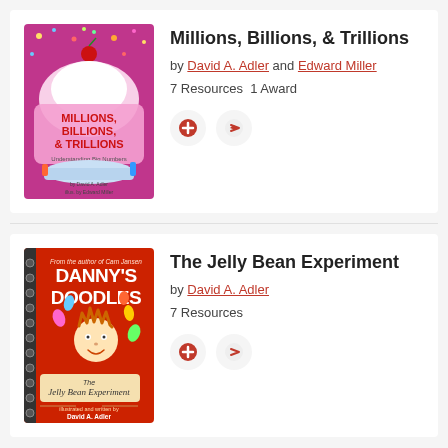[Figure (illustration): Book cover: Millions, Billions, & Trillions - Understanding Big Numbers by David A. Adler, illustrated by Edward Miller. Pink/purple background with whipped cream sundae and confetti.]
Millions, Billions, & Trillions
by David A. Adler and Edward Miller
7 Resources  1 Award
[Figure (illustration): Book cover: The Jelly Bean Experiment (Danny's Doodles series) by David A. Adler. Red background with cartoon character holding jelly beans.]
The Jelly Bean Experiment
by David A. Adler
7 Resources